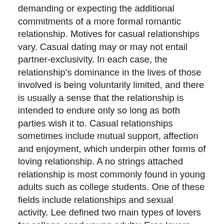demanding or expecting the additional commitments of a more formal romantic relationship. Motives for casual relationships vary. Casual dating may or may not entail partner-exclusivity. In each case, the relationship's dominance in the lives of those involved is being voluntarily limited, and there is usually a sense that the relationship is intended to endure only so long as both parties wish it to. Casual relationships sometimes include mutual support, affection and enjoyment, which underpin other forms of loving relationship. A no strings attached relationship is most commonly found in young adults such as college students. One of these fields include relationships and sexual activity. Lee defined two main types of lovers for college aged young adults: Eros lovers who are passionate lovers, and Ludas or Ludic lovers, which are game-playing lovers.
Kelly Gonsalves is a sex educator, affiliation coach, and journalist. She received her journalism degree from Northwestern University, after that her writings on sex,